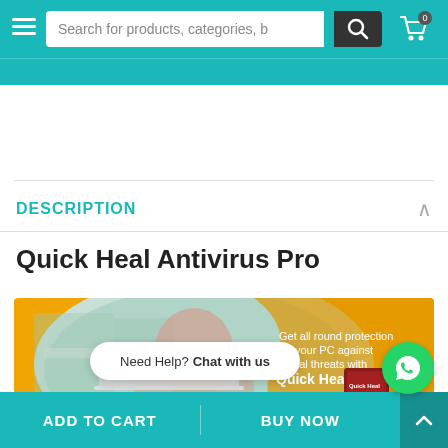Search for products, categories, b
DESCRIPTION
Quick Heal Antivirus Pro
[Figure (illustration): Quick Heal Antivirus Pro product banner showing a man using a laptop, orange background with text 'Get all round protection for your PC against digital threats with Quick Heal' and product box, Data Protection icon visible]
Need Help? Chat with us
ADD TO CART   BUY NOW